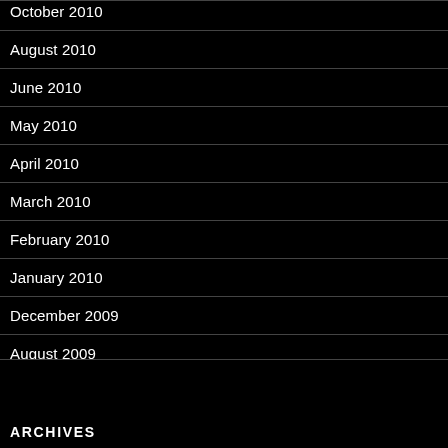October 2010
August 2010
June 2010
May 2010
April 2010
March 2010
February 2010
January 2010
December 2009
August 2009
ARCHIVES